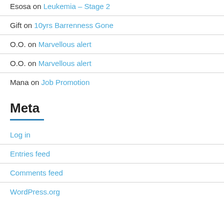Esosa on Leukemia – Stage 2
Gift on 10yrs Barrenness Gone
O.O. on Marvellous alert
O.O. on Marvellous alert
Mana on Job Promotion
Meta
Log in
Entries feed
Comments feed
WordPress.org